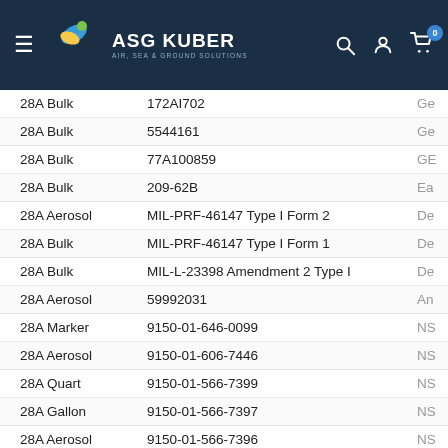[Figure (logo): ASG Kuber Air, Sea & Ground Solutions logo in dark navy header with hamburger menu, search, user, and cart icons]
| Type | Part/Spec Number | Brand |
| --- | --- | --- |
| 28A Bulk | 172AI702 | Ge |
| 28A Bulk | 5544161 | Ge |
| 28A Bulk | 77A100859 | GE |
| 28A Bulk | 209-62B | Ea |
| 28A Aerosol | MIL-PRF-46147 Type I Form 2 | De |
| 28A Bulk | MIL-PRF-46147 Type I Form 1 | De |
| 28A Bulk | MIL-L-23398 Amendment 2 Type I | De |
| 28A Aerosol | 59992031 | An |
| 28A Marker | 9150-01-646-0099 | NS |
| 28A Aerosol | 9150-01-606-7446 | NS |
| 28A Quart | 9150-01-566-7399 | NS |
| 28A Gallon | 9150-01-566-7397 | NS |
| 28A Aerosol | 9150-01-566-7396 | NS |
| 28A Quart | 9150-01-360-1907 | NS |